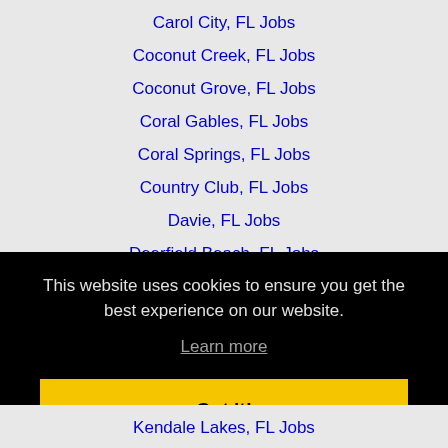Carol City, FL Jobs
Coconut Creek, FL Jobs
Coconut Grove, FL Jobs
Coral Gables, FL Jobs
Coral Springs, FL Jobs
Country Club, FL Jobs
Davie, FL Jobs
Deerfield Beach, FL Jobs
Delray Beach, FL Jobs
This website uses cookies to ensure you get the best experience on our website.
Learn more
Got it!
Kendale Lakes, FL Jobs